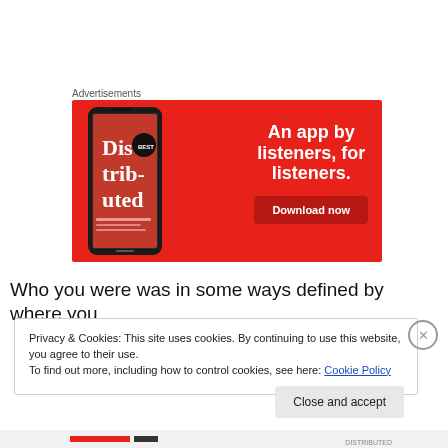Advertisements
[Figure (illustration): Advertisement banner with red background showing a smartphone displaying 'Dis-trib-uted' app and text: 'An app by listeners, for listeners.' with a 'Download now' button.]
Who you were was in some ways defined by where you
Privacy & Cookies: This site uses cookies. By continuing to use this website, you agree to their use.
To find out more, including how to control cookies, see here: Cookie Policy
Close and accept